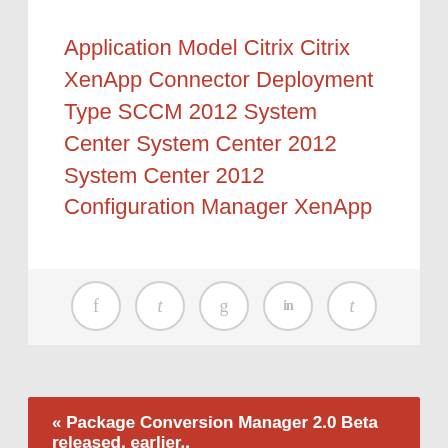Application Model Citrix Citrix XenApp Connector Deployment Type SCCM 2012 System Center System Center 2012 System Center 2012 Configuration Manager XenApp
[Figure (infographic): Social sharing icons row: Facebook (f), Twitter (t), Google+ (g), LinkedIn (in), Tumblr (t) — circular outlined buttons]
« Package Conversion Manager 2.0 Beta released, earlier..
This website uses cookies to improve your experience. We'll assume you're ok with this, but you can opt-out if you wish.
Accept
Read More